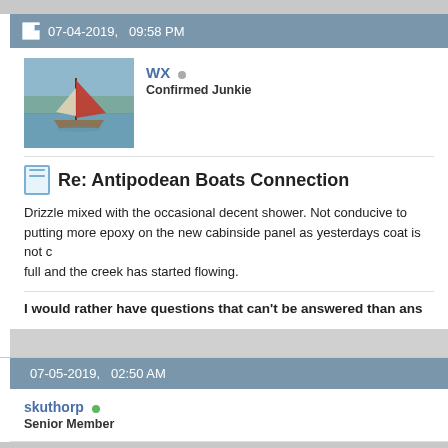07-04-2019,   09:58 PM
[Figure (photo): Avatar photo of a sailboat with red sail on calm water]
WX  Confirmed Junkie
Re: Antipodean Boats Connection
Drizzle mixed with the occasional decent shower. Not conducive to putting more epoxy on the new cabinside panel as yesterdays coat is not cured. Tank full and the creek has started flowing.
I would rather have questions that can't be answered than ans
07-05-2019,   02:50 AM
skuthorp  Senior Member